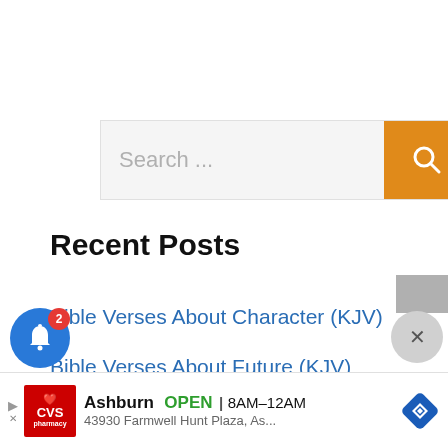[Figure (screenshot): Search bar with text placeholder 'Search ...' and orange search button with magnifying glass icon]
Recent Posts
Bible Verses About Character (KJV)
Bible Verses About Future (KJV)
Bible Verses About Discernment (KJV)
[Figure (screenshot): Bottom advertisement bar for CVS Pharmacy in Ashburn, OPEN 8AM–12AM, 43930 Farmwell Hunt Plaza, As... with navigation arrow icon and close button]